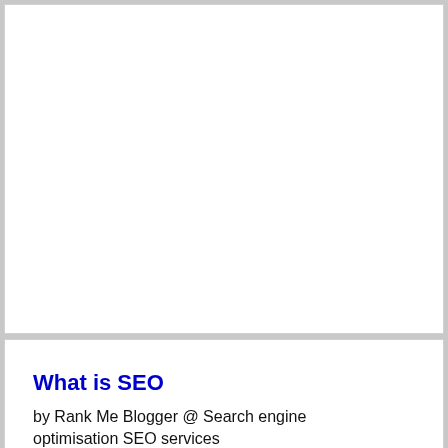[Figure (other): Empty white card/box — top portion of page, no visible content]
What is SEO
by Rank Me Blogger @ Search engine optimisation SEO services